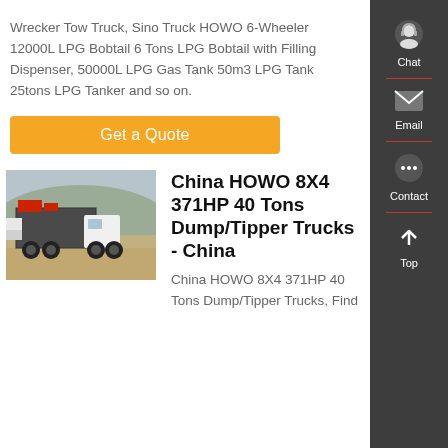Wrecker Tow Truck, Sino Truck HOWO 6-Wheeler 12000L LPG Bobtail 6 Tons LPG Bobtail with Filling Dispenser, 50000L LPG Gas Tank 50m3 LPG Tank 25tons LPG Tanker and so on.
Get a Quote
[Figure (photo): Photo of a China HOWO 8X4 heavy dump/tipper truck in a parking area with hills in the background]
China HOWO 8X4 371HP 40 Tons Dump/Tipper Trucks - China
China HOWO 8X4 371HP 40 Tons Dump/Tipper Trucks, Find